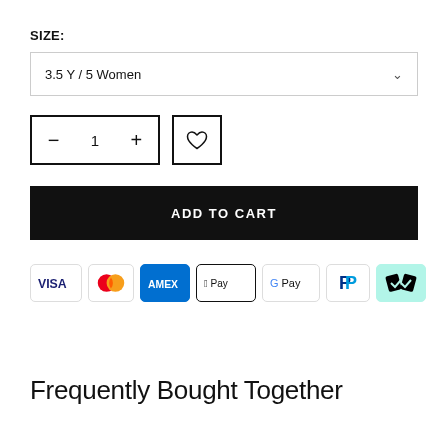SIZE:
3.5 Y / 5 Women
[Figure (infographic): Quantity selector with minus, 1, plus buttons in a bordered box, and a heart/wishlist icon in a separate bordered box]
ADD TO CART
[Figure (infographic): Payment method icons: VISA, Mastercard, AMEX, Apple Pay, Google Pay, PayPal, Afterpay]
Frequently Bought Together